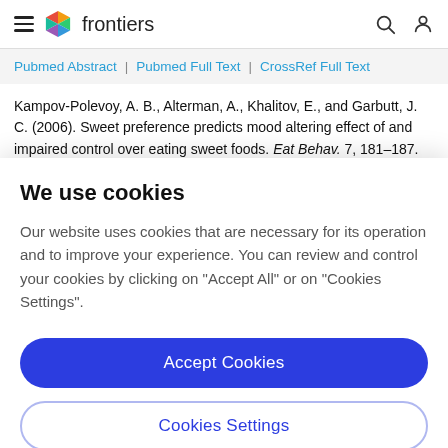frontiers
Pubmed Abstract | Pubmed Full Text | CrossRef Full Text
Kampov-Polevoy, A. B., Alterman, A., Khalitov, E., and Garbutt, J. C. (2006). Sweet preference predicts mood altering effect of and impaired control over eating sweet foods. Eat Behav. 7, 181–187.
We use cookies
Our website uses cookies that are necessary for its operation and to improve your experience. You can review and control your cookies by clicking on "Accept All" or on "Cookies Settings".
Accept Cookies
Cookies Settings